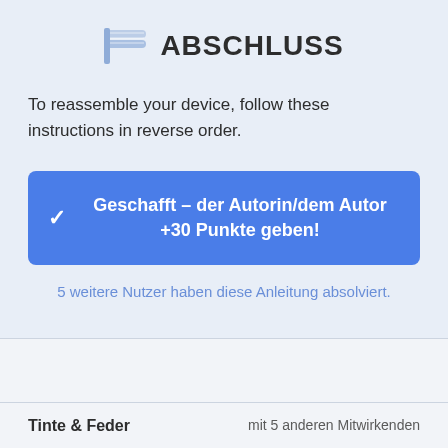ABSCHLUSS
To reassemble your device, follow these instructions in reverse order.
Geschafft – der Autorin/dem Autor +30 Punkte geben!
5 weitere Nutzer haben diese Anleitung absolviert.
Tinte & Feder
mit 5 anderen Mitwirkenden